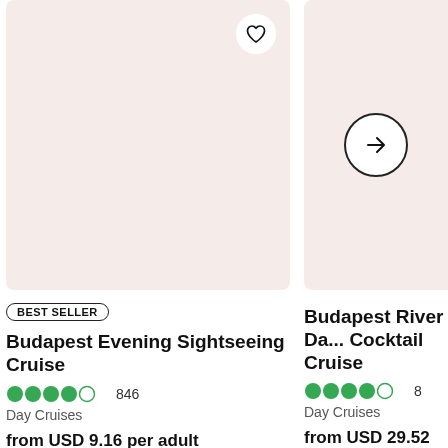[Figure (photo): Product card image placeholder with light pink/beige background for Budapest Evening Sightseeing Cruise, with heart/favorite button in top-right corner]
BEST SELLER
Budapest Evening Sightseeing Cruise
4.0 stars, 846 reviews
Day Cruises
from USD 9.16 per adult
[Figure (photo): Product card image placeholder with light pink/beige background for Budapest River Da... Cocktail Cruise, with navigation arrow button in center]
Budapest River Da... Cocktail Cruise
4.0 stars, 8 reviews
Day Cruises
from USD 29.52 per a...